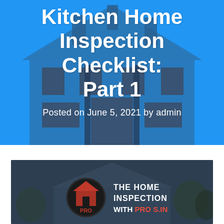[Figure (illustration): Blue banner with dark house silhouette icon in the background]
Kitchen Home Inspection Checklist: Part 1
Posted on June 5, 2021 by admin
[Figure (logo): The Home Inspection with Pro logo on dark background with house silhouette]